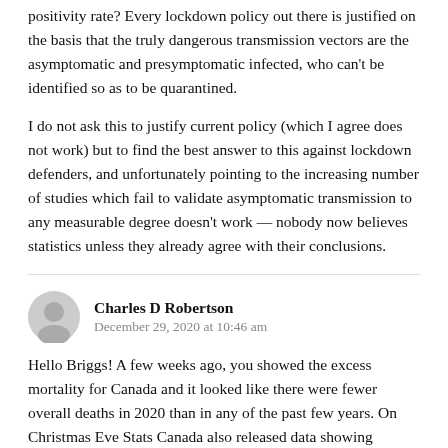positivity rate? Every lockdown policy out there is justified on the basis that the truly dangerous transmission vectors are the asymptomatic and presymptomatic infected, who can't be identified so as to be quarantined.
I do not ask this to justify current policy (which I agree does not work) but to find the best answer to this against lockdown defenders, and unfortunately pointing to the increasing number of studies which fail to validate asymptomatic transmission to any measurable degree doesn't work — nobody now believes statistics unless they already agree with their conclusions.
Charles D Robertson
December 29, 2020 at 10:46 am
Hello Briggs! A few weeks ago, you showed the excess mortality for Canada and it looked like there were fewer overall deaths in 2020 than in any of the past few years. On Christmas Eve Stats Canada also released data showing…